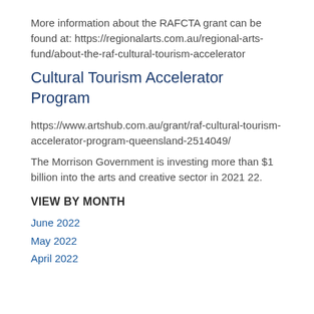More information about the RAFCTA grant can be found at: https://regionalarts.com.au/regional-arts-fund/about-the-raf-cultural-tourism-accelerator
Cultural Tourism Accelerator Program
https://www.artshub.com.au/grant/raf-cultural-tourism-accelerator-program-queensland-2514049/
The Morrison Government is investing more than $1 billion into the arts and creative sector in 2021 22.
VIEW BY MONTH
June 2022
May 2022
April 2022